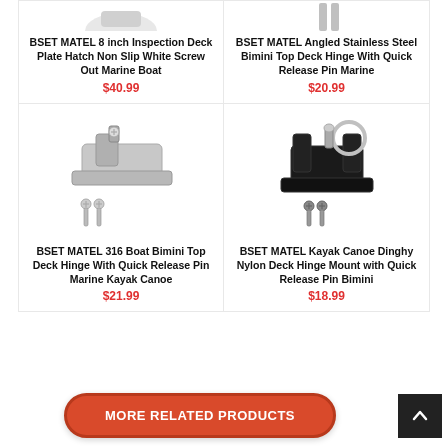[Figure (photo): BSET MATEL 8 inch Inspection Deck Plate Hatch Non Slip White Screw Out Marine Boat product image (top, partially visible)]
BSET MATEL 8 inch Inspection Deck Plate Hatch Non Slip White Screw Out Marine Boat
$40.99
[Figure (photo): BSET MATEL Angled Stainless Steel Bimini Top Deck Hinge With Quick Release Pin Marine product image (top, partially visible)]
BSET MATEL Angled Stainless Steel Bimini Top Deck Hinge With Quick Release Pin Marine
$20.99
[Figure (photo): BSET MATEL 316 Boat Bimini Top Deck Hinge With Quick Release Pin Marine Kayak Canoe - silver metal hinge with screws]
BSET MATEL 316 Boat Bimini Top Deck Hinge With Quick Release Pin Marine Kayak Canoe
$21.99
[Figure (photo): BSET MATEL Kayak Canoe Dinghy Nylon Deck Hinge Mount with Quick Release Pin Bimini - black nylon hinge with ring and screws]
BSET MATEL Kayak Canoe Dinghy Nylon Deck Hinge Mount with Quick Release Pin Bimini
$18.99
MORE RELATED PRODUCTS